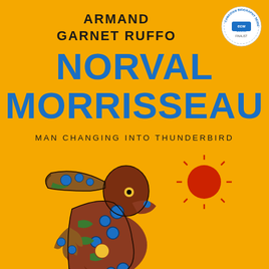[Figure (illustration): Book cover with golden/amber yellow background. Author name 'ARMAND GARNET RUFFO' in black bold capitals at top. Large blue bold title 'NORVAL MORRISSEAU' in two lines. Subtitle 'MAN CHANGING INTO THUNDERBIRD' in smaller black uppercase letters. A circular badge/seal in top right corner with 'books' text. Central illustration of a figure in Woodland/Ojibwe art style showing a man transforming into a thunderbird, with colorful geometric patterns in brown, blue, green, yellow and red. A red sun with rays is visible to the right of the figure.]